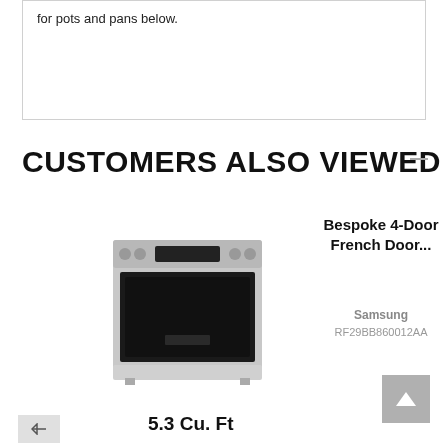for pots and pans below.
CUSTOMERS ALSO VIEWED
[Figure (photo): Stainless steel electric range/oven appliance product photo]
Bespoke 4-Door French Door...
Samsung
RF29BB860012AA
5.3 Cu. Ft